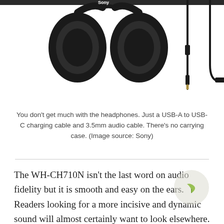[Figure (photo): Photo of Sony WH-CH710N headphones (ear cups visible) on the left, and two audio cables with 3.5mm connectors on the right, against a white background.]
You don't get much with the headphones. Just a USB-A to USB-C charging cable and 3.5mm audio cable. There's no carrying case. (Image source: Sony)
The WH-CH710N isn't the last word on audio fidelity but it is smooth and easy on the ears. Readers looking for a more incisive and dynamic sound will almost certainly want to look elsewhere. That said, the WH-CH710N pleases with a chilled-out sound that has thick satisfying bass, a soothing mid-range